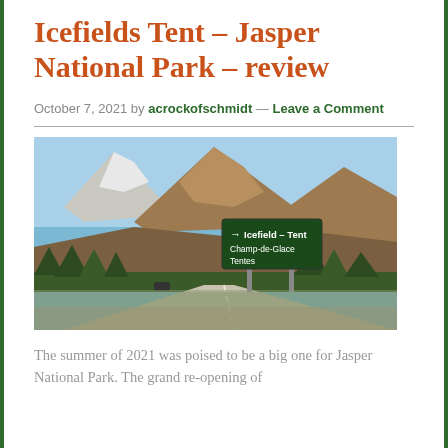Icefields Tent – Jasper National Park – review
October 7, 2021 by acrockofschmidt — Leave a Comment
[Figure (photo): Road with mountains in background and a green Parks Canada sign reading 'Icefield - Tent / Champ-de-Glace Tentes' with an arrow pointing right.]
The summer of 2021 was poised to be a big one for Jasper National Park. The grand re-opening of